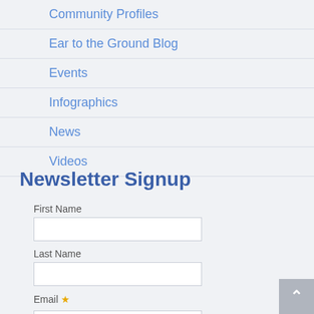Community Profiles
Ear to the Ground Blog
Events
Infographics
News
Videos
Newsletter Signup
First Name
Last Name
Email *
SUBMIT